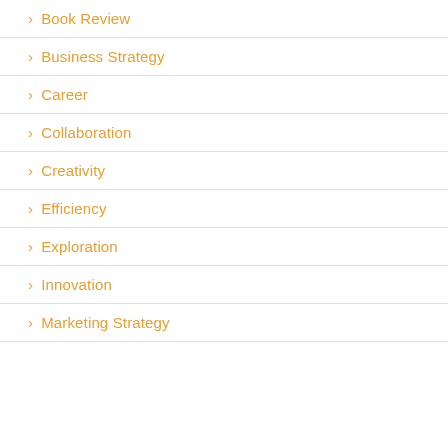> Book Review
> Business Strategy
> Career
> Collaboration
> Creativity
> Efficiency
> Exploration
> Innovation
> Marketing Strategy